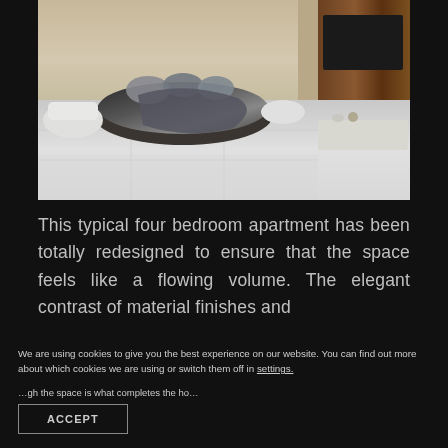[Figure (photo): Luxury bedroom interior with a large round dark bed covered in patterned pillows and throws, white marble floor, wood panel wall with TV, and decorative white curved furniture elements.]
This typical four bedroom apartment has been totally redesigned to ensure that the space feels like a flowing volume. The elegant contrast of material finishes and
We are using cookies to give you the best experience on our website. You can find out more about which cookies we are using or switch them off in settings.
…gh the space is what completes the ho…
ACCEPT